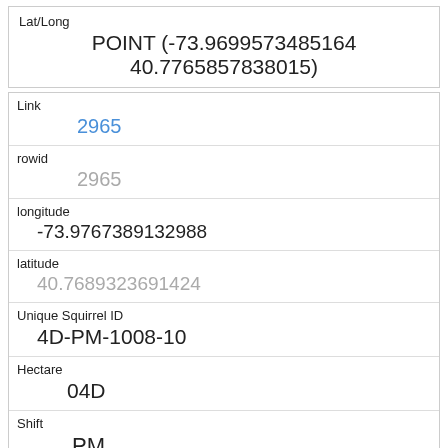| Field | Value |
| --- | --- |
| Lat/Long | POINT (-73.9699573485164 40.7765857838015) |
| Field | Value |
| --- | --- |
| Link | 2965 |
| rowid | 2965 |
| longitude | -73.9767389132988 |
| latitude | 40.7689323691424 |
| Unique Squirrel ID | 4D-PM-1008-10 |
| Hectare | 04D |
| Shift | PM |
| Date | 10082018 |
| Hectare Squirrel Number | 10 |